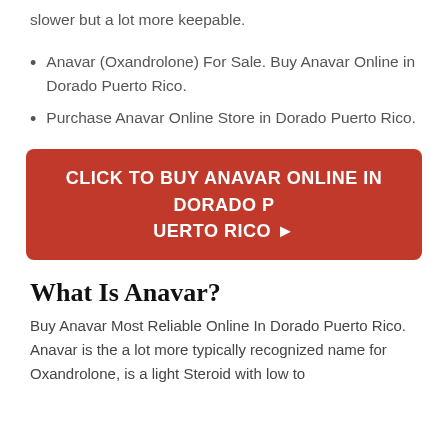slower but a lot more keepable.
Anavar (Oxandrolone) For Sale. Buy Anavar Online in Dorado Puerto Rico.
Purchase Anavar Online Store in Dorado Puerto Rico.
[Figure (other): Red call-to-action button: CLICK TO BUY ANAVAR ONLINE IN DORADO PUERTO RICO →]
What Is Anavar?
Buy Anavar Most Reliable Online In Dorado Puerto Rico. Anavar is the a lot more typically recognized name for Oxandrolone, is a light Steroid with low to moderate effects, therefore it is more commonly